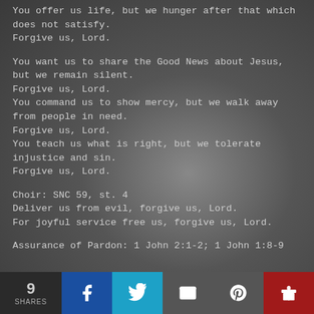You offer us life, but we hunger after that which does not satisfy.
Forgive us, Lord.
You want us to share the Good News about Jesus, but we remain silent.
Forgive us, Lord.
You command us to show mercy, but we walk away from people in need.
Forgive us, Lord.
You teach us what is right, but we tolerate injustice and sin.
Forgive us, Lord.
Choir: SNC 59, st. 4
Deliver us from evil, forgive us, Lord.
For joyful service free us, forgive us, Lord.
Assurance of Pardon: 1 John 2:1-2; 1 John 1:8-9
9 SHARES